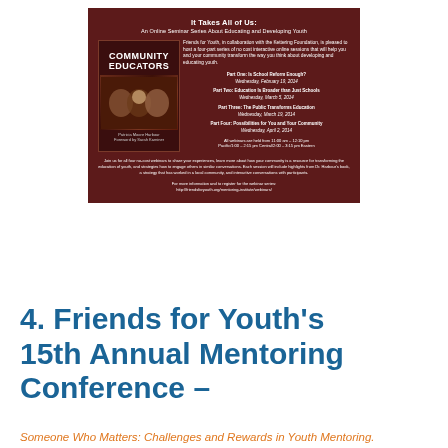[Figure (infographic): A dark red/maroon poster titled 'It Takes All of Us: An Online Seminar Series About Educating and Developing Youth' from Friends for Youth in collaboration with the Kettering Foundation. Shows a book cover for 'Community Educators' on the left and seminar schedule details on the right. Lists four webinar sessions in February, March, and April 2014, with footer text about joining for no-cost webinars and a registration URL.]
4. Friends for Youth's 15th Annual Mentoring Conference –
Someone Who Matters: Challenges and Rewards in Youth Mentoring.